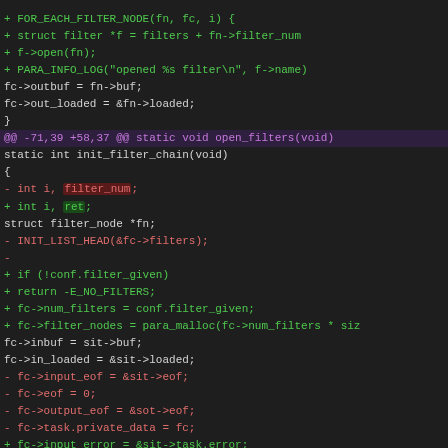[Figure (screenshot): A code diff screenshot showing changes to a C source file, with added lines in green and removed lines in red, on a dark background. Shows changes to open_filters and init_filter_chain functions.]